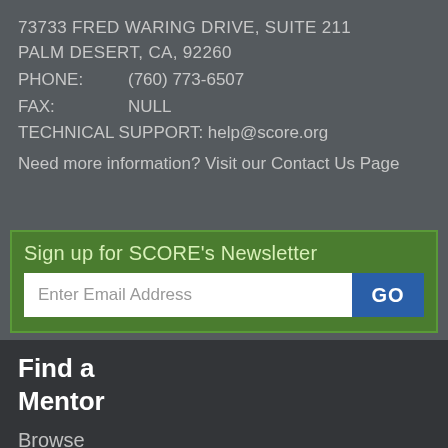73733 FRED WARING DRIVE, SUITE 211
PALM DESERT, CA, 92260
PHONE:   (760) 773-6507
FAX:   NULL
TECHNICAL SUPPORT: help@score.org
Need more information? Visit our Contact Us Page
Sign up for SCORE's Newsletter
Enter Email Address
GO
Find a
Mentor
Browse
Mentor
Profiles